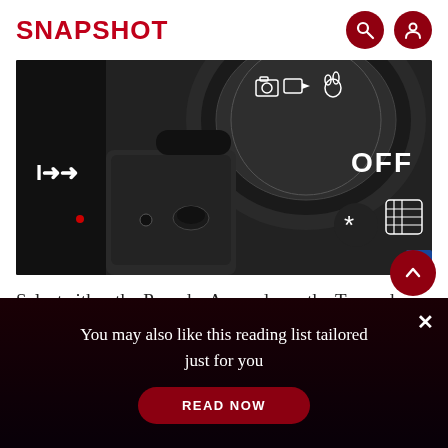SNAPSHOT
[Figure (photo): Close-up photograph of a camera top plate showing the mode dial with icons including P, Av, Tv modes, and OFF position, along with control buttons including asterisk and grid button]
Select either the P mode, Av mode, or the Tv mode.
2. Select the desired exposure compensatio
You may also like this reading list tailored just for you
READ NOW